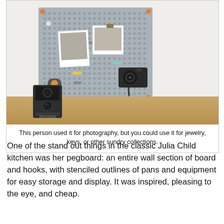[Figure (photo): A gray pegboard mounted on a white wall on a wooden desk surface. The pegboard has colorful pins and hooks, two vintage black-and-white photographs pinned to it, and a vintage film camera hanging on the right side. A twin-lens reflex camera sits on the desk to the left. Various colorful pegs in orange, yellow, and teal are inserted into the board. The word 'block' appears in green text at the bottom right of the pegboard.]
This person used it for photography, but you could use it for jewelry, keys, or other sundry collections.
One of the stand out things in the classic Julia Child kitchen was her pegboard: an entire wall section of board and hooks, with stenciled outlines of pans and equipment for easy storage and display. It was inspired, pleasing to the eye, and cheap.